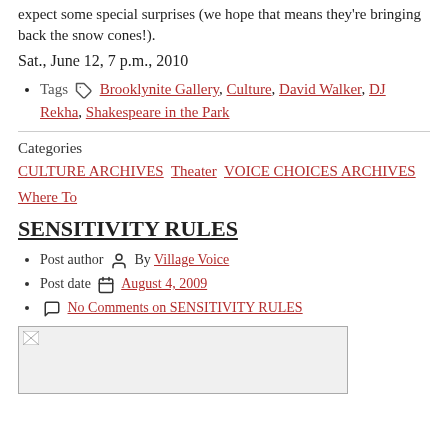expect some special surprises (we hope that means they're bringing back the snow cones!).
Sat., June 12, 7 p.m., 2010
Tags  Brooklynite Gallery, Culture, David Walker, DJ Rekha, Shakespeare in the Park
Categories
CULTURE ARCHIVES  Theater  VOICE CHOICES ARCHIVES  Where To
SENSITIVITY RULES
Post author  By Village Voice
Post date  August 4, 2009
No Comments on SENSITIVITY RULES
[Figure (photo): Broken image placeholder for article image]